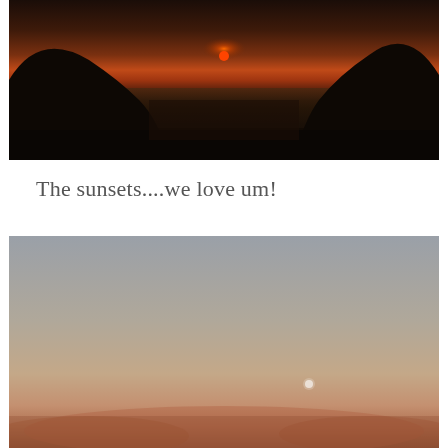[Figure (photo): Dark dramatic sunset photo viewed through a gap between two large dark rock formations, with a glowing red-orange sun on the horizon over water]
The sunsets....we love um!
[Figure (photo): Sunset sky photo with soft gradients from grey-blue at top to warm orange-brown at the bottom horizon, with dim clouds and a faint bright dot (moon or planet) visible near center-right]